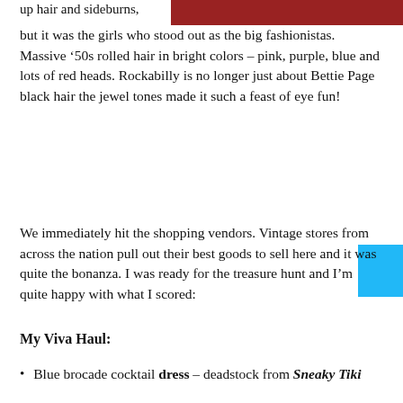[Figure (photo): Partial view of a photo at top right showing people, appears to be at a rockabilly event, image cropped at top]
up hair and sideburns,
but it was the girls who stood out as the big fashionistas. Massive '50s rolled hair in bright colors – pink, purple, blue and lots of red heads. Rockabilly is no longer just about Bettie Page black hair the jewel tones made it such a feast of eye fun!
[Figure (other): Blue 'More Info' button overlay]
We immediately hit the shopping vendors. Vintage stores from across the nation pull out their best goods to sell here and it was quite the bonanza. I was ready for the treasure hunt and I'm quite happy with what I scored:
My Viva Haul:
Blue brocade cocktail dress – deadstock from Sneaky Tiki